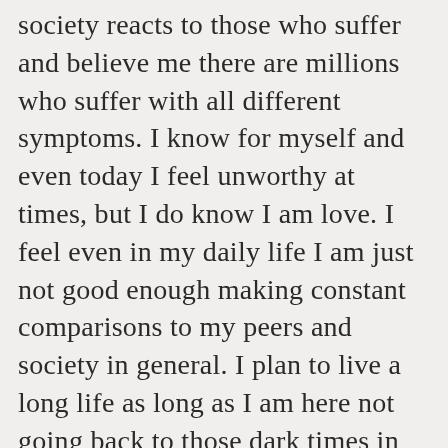society reacts to those who suffer and believe me there are millions who suffer with all different symptoms. I know for myself and even today I feel unworthy at times, but I do know I am love. I feel even in my daily life I am just not good enough making constant comparisons to my peers and society in general. I plan to live a long life as long as I am here not going back to those dark times in my life but looking forward no matter how tough life gets.